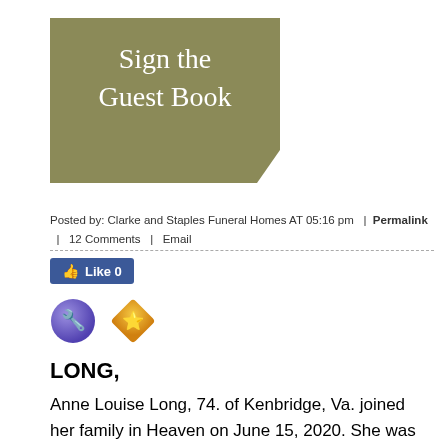[Figure (illustration): Olive/khaki colored button graphic with clipped bottom-right corner reading 'Sign the Guest Book' in white serif font]
Posted by: Clarke and Staples Funeral Homes AT 05:16 pm  |  Permalink  |  12 Comments  |  Email
[Figure (screenshot): Facebook Like button showing 'Like 0']
[Figure (illustration): Two social sharing icons: a purple circle with a wrench/tool symbol and an orange rotated square with a star symbol]
LONG,
Anne Louise Long, 74. of Kenbridge, Va. joined her family in Heaven on June 15, 2020. She was the mother of the late Connie Sue Jones. She is survived by her daughter,  Donna Faye Bowman; her son, Wilson Lee “Buck” Long, Jr. (Angie); grandson, Anthony Allen Long; granddaughters, Lauren Long